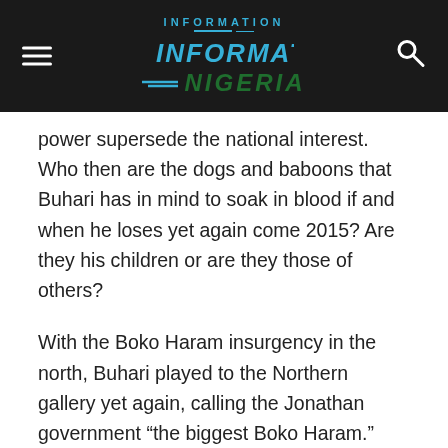INFORMATION NIGERIA
power supersede the national interest. Who then are the dogs and baboons that Buhari has in mind to soak in blood if and when he loses yet again come 2015? Are they his children or are they those of others?
With the Boko Haram insurgency in the north, Buhari played to the Northern gallery yet again, calling the Jonathan government “the biggest Boko Haram.” Wole Olaniyi was a fly in the wall at a meeting in Kano Government House designed to persuade PDP rebel governor, Rabiu Kwankwaso, to decamp to the APC. Assuming that only Northerners were present, Buhari declared the Boko Haram was a “strategic plan” by the government of Goodluck Jonathan to “destroy the North.” When Jonathan declared a state of emergency in Yobe, Borno and Adamawa states,